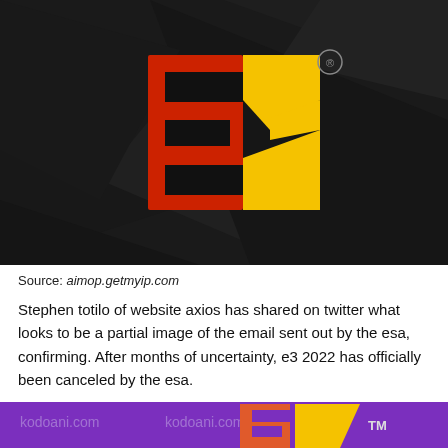[Figure (logo): E3 logo on dark geometric background. Large red block letter E and yellow stylized 3, with registered trademark symbol. Dark grey/black angular polygon background.]
Source: aimop.getmyip.com
Stephen totilo of website axios has shared on twitter what looks to be a partial image of the email sent out by the esa, confirming. After months of uncertainty, e3 2022 has officially been canceled by the esa.
[Figure (logo): E3 logo on purple background with watermark text 'kodoani.com kodoani.com'. Orange and yellow stylized E3 letters with TM trademark symbol.]